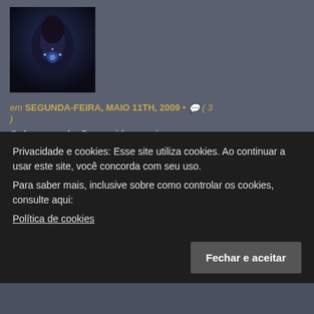[Figure (photo): Iron Maiden album/magazine cover art showing a dark fantasy figure with glowing effects on a blue/dark background]
em SEGUNDA-FEIRA, MAIO 11TH, 2009 • 💬 ( 3 )
Galera, saudações maidenmaniacas. Cheguei em casa hoje e me deparei com a edição número 83 da Iron Maiden FC Magazine, do fã clube oficial que sou membro – digo, sou membro e não sou… não paguei a renovação ainda por… Leia mais ›
MINUTO IM POR E-MAIL
Privacidade e cookies: Esse site utiliza cookies. Ao continuar a usar este site, você concorda com seu uso.
Para saber mais, inclusive sobre como controlar os cookies, consulte aqui:
Política de cookies
Fechar e aceitar